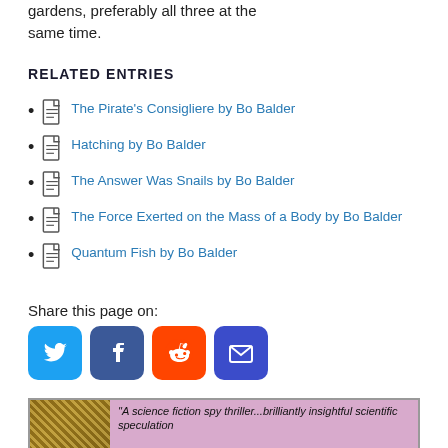gardens, preferably all three at the same time.
RELATED ENTRIES
The Pirate's Consigliere by Bo Balder
Hatching by Bo Balder
The Answer Was Snails by Bo Balder
The Force Exerted on the Mass of a Body by Bo Balder
Quantum Fish by Bo Balder
Share this page on:
[Figure (infographic): Social sharing buttons: Twitter (blue bird), Facebook (blue f), Reddit (orange alien), Email (blue envelope)]
[Figure (infographic): Advertisement banner with purple background, book cover image on left, and text: "A science fiction spy thriller...brilliantly insightful scientific speculation"]